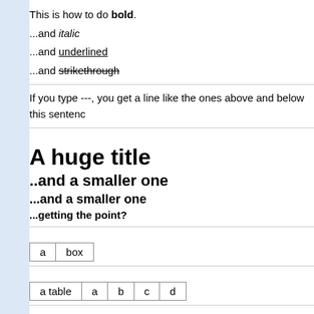This is how to do bold.
...and italic
...and underlined
...and strikethrough
If you type ---, you get a line like the ones above and below this sentence
A huge title
..and a smaller one
...and a smaller one
...getting the point?
| a | box |
| a table | a | b | c | d |
| --- | --- | --- | --- | --- |
This is how to Create a new page (2 ways)
First, you can type a word with SeveralCapitalLetters (or even typ
automatically create a link to that page! A dashed underling mea